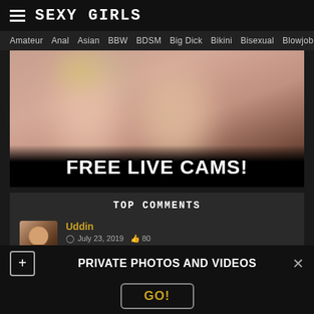SEXY GIRLS
Amateur  Anal  Asian  BBW  BDSM  Big Dick  Bikini  Bisexual  Blowjob  Boobs
[Figure (photo): Adult content advertisement banner with text FREE LIVE CAMS!]
TOP COMMENTS
Uddin
July 23, 2019  80
PRIVATE PHOTOS AND VIDEOS
GO!